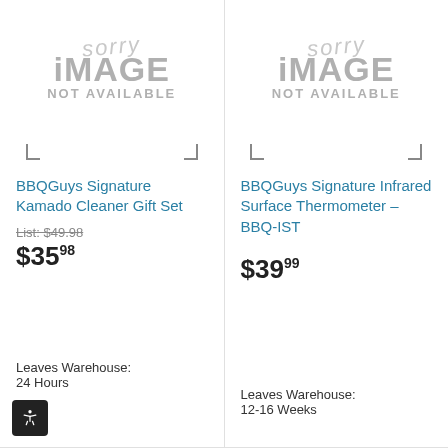[Figure (illustration): Sorry IMAGE NOT AVAILABLE placeholder graphic for BBQGuys Signature Kamado Cleaner Gift Set]
BBQGuys Signature Kamado Cleaner Gift Set
List: $49.98
$35.98
Leaves Warehouse: 24 Hours
[Figure (illustration): Sorry IMAGE NOT AVAILABLE placeholder graphic for BBQGuys Signature Infrared Surface Thermometer – BBQ-IST]
BBQGuys Signature Infrared Surface Thermometer – BBQ-IST
$39.99
Leaves Warehouse: 12-16 Weeks